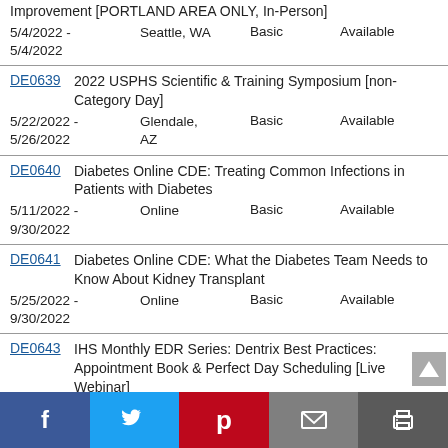Improvement [PORTLAND AREA ONLY, In-Person]
5/4/2022 - 5/4/2022   Seattle, WA   Basic   Available
DE0639   2022 USPHS Scientific & Training Symposium [non-Category Day]
5/22/2022 - 5/26/2022   Glendale, AZ   Basic   Available
DE0640   Diabetes Online CDE: Treating Common Infections in Patients with Diabetes
5/11/2022 - 9/30/2022   Online   Basic   Available
DE0641   Diabetes Online CDE: What the Diabetes Team Needs to Know About Kidney Transplant
5/25/2022 - 9/30/2022   Online   Basic   Available
DE0643   IHS Monthly EDR Series: Dentrix Best Practices: Appointment Book & Perfect Day Scheduling [Live Webinar]
5/18/2022 - 5/18/2022   Online   Basic   Available
Facebook Twitter Pinterest Email Print